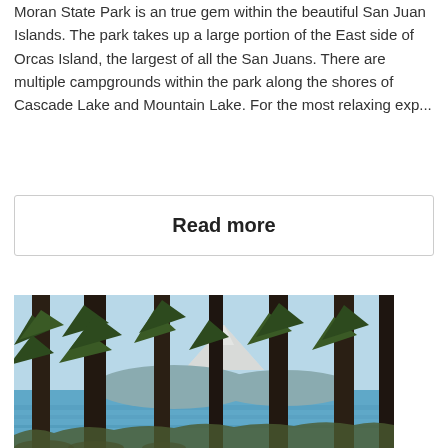Moran State Park is an true gem within the beautiful San Juan Islands. The park takes up a large portion of the East side of Orcas Island, the largest of all the San Juans. There are multiple campgrounds within the park along the shores of Cascade Lake and Mountain Lake. For the most relaxing exp...
Read more
[Figure (photo): Photo of tall pine trees in the foreground with a calm blue water body and snow-capped mountain range visible in the background through the trees, under a clear light blue sky.]